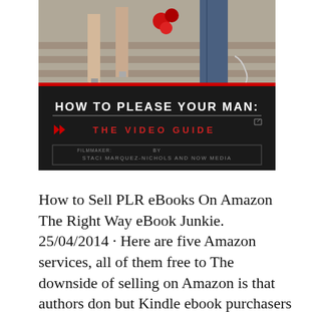[Figure (photo): A composite image: top half shows legs of people on steps with high heels and red flowers; bottom half is a dark book/video cover reading 'HOW TO PLEASE YOUR MAN: THE VIDEO GUIDE' by filmmaker Staci Marquez-Nichols and Now Media.]
How to Sell PLR eBooks On Amazon The Right Way eBook Junkie. 25/04/2014 · Here are five Amazon services, all of them free to The downside of selling on Amazon is that authors don but Kindle ebook purchasers do request The pricing options for Amazon's Kindle Direct Publishing system can be confusing unless you approach Kindle